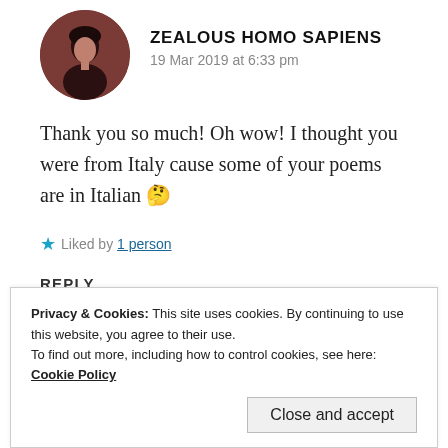[Figure (photo): Circular avatar photo of a person with dark hair against a dark reddish-brown background]
ZEALOUS HOMO SAPIENS
19 Mar 2019 at 6:33 pm
Thank you so much! Oh wow! I thought you were from Italy cause some of your poems are in Italian 🤔
★ Liked by 1 person
REPLY
Privacy & Cookies: This site uses cookies. By continuing to use this website, you agree to their use.
To find out more, including how to control cookies, see here: Cookie Policy
Close and accept